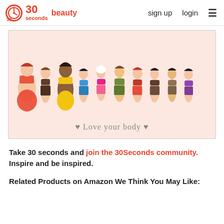30 seconds beauty  sign up  login
[Figure (illustration): Illustration of 10 diverse women of different body types and skin tones standing together in swimwear/underwear, with text 'Love your body' and small heart symbols below on a pink background.]
Take 30 seconds and join the 30Seconds community. Inspire and be inspired.
Related Products on Amazon We Think You May Like: